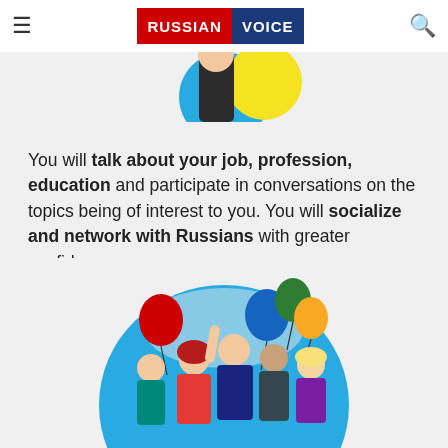RUSSIAN VOICE
[Figure (illustration): Partial illustration visible at top showing a person with yellow/blue colored background elements]
You will talk about your job, profession, education and participate in conversations on the topics being of interest to you. You will socialize and network with Russians with greater confidence.
[Figure (illustration): Illustration of a group of young people celebrating with colorful balloons (red, blue, green, yellow) in a circular frame with blue background]